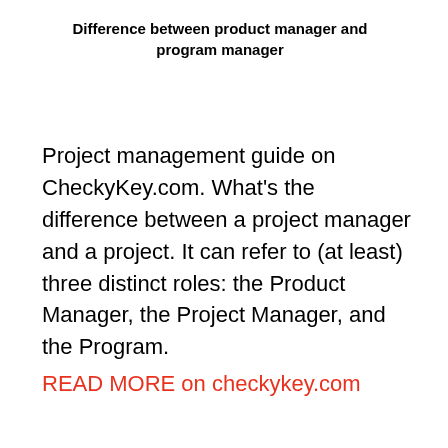Difference between product manager and program manager
Project management guide on CheckyKey.com. What's the difference between a project manager and a project. It can refer to (at least) three distinct roles: the Product Manager, the Project Manager, and the Program.
READ MORE on checkykey.com